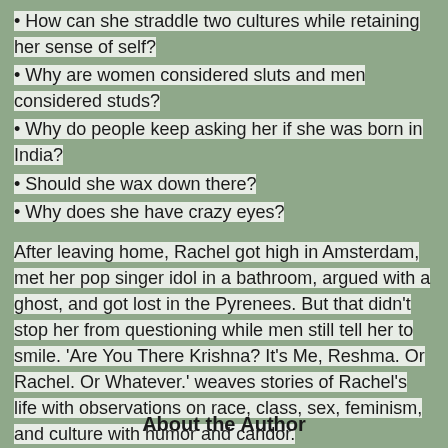• How can she straddle two cultures while retaining her sense of self?
• Why are women considered sluts and men considered studs?
• Why do people keep asking her if she was born in India?
• Should she wax down there?
• Why does she have crazy eyes?
After leaving home, Rachel got high in Amsterdam, met her pop singer idol in a bathroom, argued with a ghost, and got lost in the Pyrenees. But that didn't stop her from questioning while men still tell her to smile. 'Are You There Krishna? It's Me, Reshma. Or Rachel. Or Whatever.' weaves stories of Rachel's life with observations on race, class, sex, feminism, and culture with humor and candor.
FOR MORE INFORMATION:
Amazon
About the Author